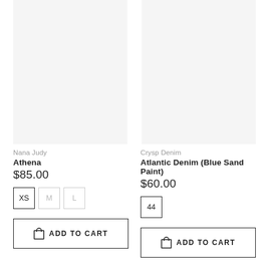[Figure (photo): Product image placeholder for Nana Judy Athena (left column)]
[Figure (photo): Product image placeholder for Crysp Denim Atlantic Denim Blue Sand Paint (right column)]
Nana Judy
Athena
$85.00
XS  M  L
ADD TO CART
Crysp Denim
Atlantic Denim (Blue Sand Paint)
$60.00
44
ADD TO CART